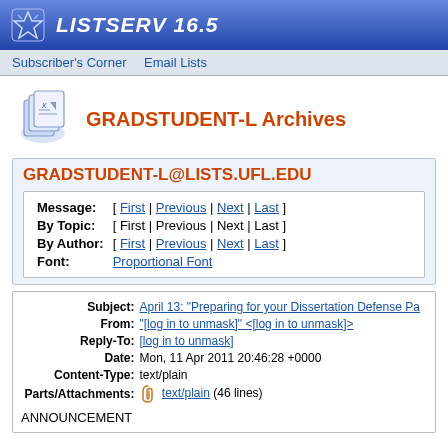LISTSERV 16.5
Subscriber's Corner   Email Lists
GRADSTUDENT-L Archives
GRADSTUDENT-L@LISTS.UFL.EDU
Message: [ First | Previous | Next | Last ]
By Topic: [ First | Previous | Next | Last ]
By Author: [ First | Previous | Next | Last ]
Font: Proportional Font
Subject: April 13: "Preparing for your Dissertation Defense Pa
From: "[log in to unmask]" <[log in to unmask]>
Reply-To: [log in to unmask]
Date: Mon, 11 Apr 2011 20:46:28 +0000
Content-Type: text/plain
Parts/Attachments: text/plain (46 lines)
ANNOUNCEMENT